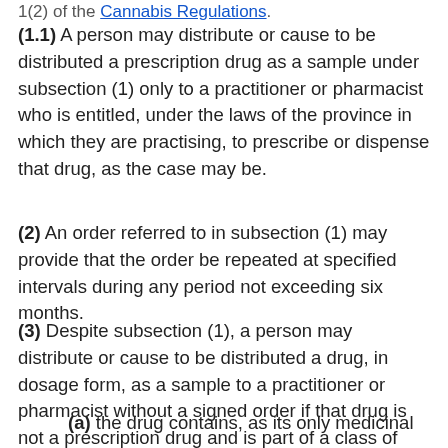1(2) of the Cannabis Regulations.
(1.1) A person may distribute or cause to be distributed a prescription drug as a sample under subsection (1) only to a practitioner or pharmacist who is entitled, under the laws of the province in which they are practising, to prescribe or dispense that drug, as the case may be.
(2) An order referred to in subsection (1) may provide that the order be repeated at specified intervals during any period not exceeding six months.
(3) Despite subsection (1), a person may distribute or cause to be distributed a drug, in dosage form, as a sample to a practitioner or pharmacist without a signed order if that drug is not a prescription drug and is part of a class of drugs that is set out in column 1 of List D, and if all of the following conditions are met:
(a) the drug contains, as its only medicinal